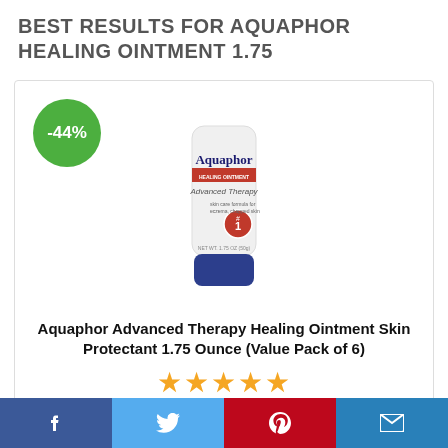BEST RESULTS FOR AQUAPHOR HEALING OINTMENT 1.75
[Figure (photo): Aquaphor Advanced Therapy Healing Ointment tube product photo with -44% discount badge in green circle]
Aquaphor Advanced Therapy Healing Ointment Skin Protectant 1.75 Ounce (Value Pack of 6)
★★★★★ (5 stars)
$40.78 $58.72